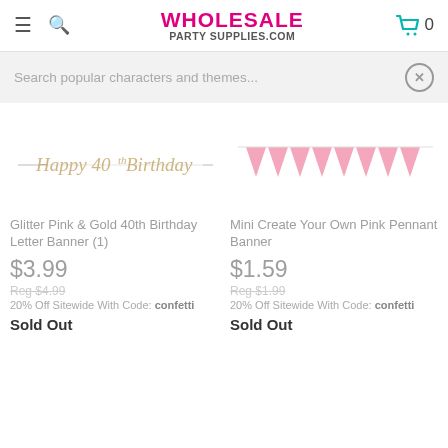WHOLESALE PARTY SUPPLIES.COM
Search popular characters and themes...
[Figure (photo): Glitter Pink & Gold 40th Birthday Letter Banner product image showing a decorative script banner]
Glitter Pink & Gold 40th Birthday Letter Banner (1)
$3.99
Reg $4.99
20% Off Sitewide With Code: confetti
Sold Out
[Figure (photo): Mini Create Your Own Pink Pennant Banner product image showing pink triangle pennant banner]
Mini Create Your Own Pink Pennant Banner
$1.59
Reg $1.99
20% Off Sitewide With Code: confetti
Sold Out